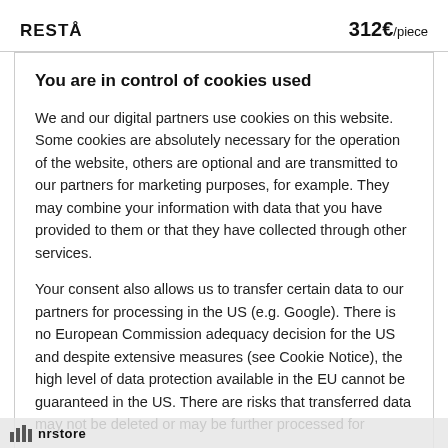RESTÅ   312€/piece
You are in control of cookies used
We and our digital partners use cookies on this website. Some cookies are absolutely necessary for the operation of the website, others are optional and are transmitted to our partners for marketing purposes, for example. They may combine your information with data that you have provided to them or that they have collected through other services.
Your consent also allows us to transfer certain data to our partners for processing in the US (e.g. Google). There is no European Commission adequacy decision for the US and despite extensive measures (see Cookie Notice), the high level of data protection available in the EU cannot be guaranteed in the US. There are risks that transferred data may not be deleted or may be further processed for
nrstore